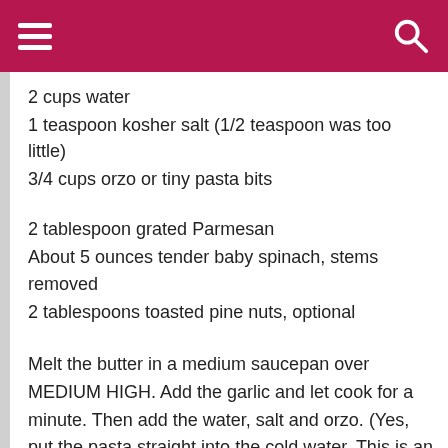2 cups water
1 teaspoon kosher salt (1/2 teaspoon was too little)
3/4 cups orzo or tiny pasta bits
2 tablespoon grated Parmesan
About 5 ounces tender baby spinach, stems removed
2 tablespoons toasted pine nuts, optional
Melt the butter in a medium saucepan over MEDIUM HIGH. Add the garlic and let cook for a minute. Then add the water, salt and orzo. (Yes, put the pasta straight into the cold water. This is an atypical way to cook pasta but it's the way the recipe I've been using for so many years is written